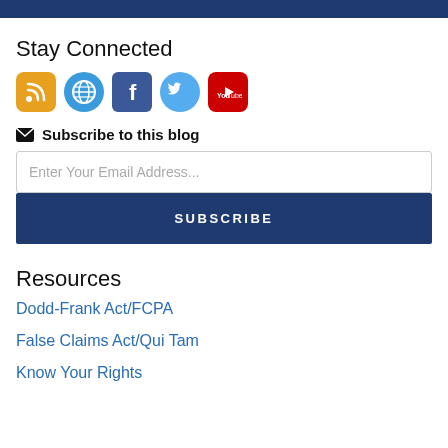[Figure (other): Dark navy blue horizontal bar at top of page]
Stay Connected
[Figure (infographic): Row of social media icons: RSS (orange), Web/Globe (blue circle), Facebook (dark blue), Twitter (light blue circle), YouTube (red)]
✉ Subscribe to this blog
Enter Your Email Address...
SUBSCRIBE
Resources
Dodd-Frank Act/FCPA
False Claims Act/Qui Tam
Know Your Rights